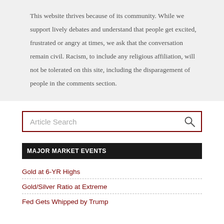This website thrives because of its community. While we support lively debates and understand that people get excited, frustrated or angry at times, we ask that the conversation remain civil. Racism, to include any religious affiliation, will not be tolerated on this site, including the disparagement of people in the comments section.
Article Search
MAJOR MARKET EVENTS
Gold at 6-YR Highs
Gold/Silver Ratio at Extreme
Fed Gets Whipped by Trump